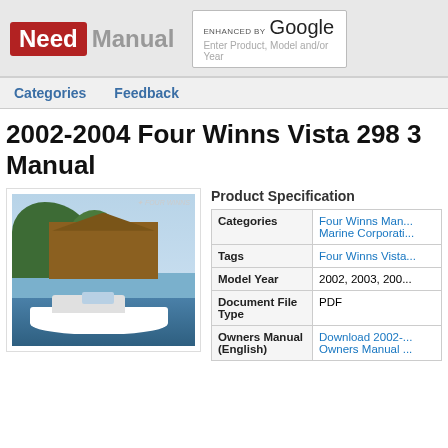Need Manual — Search: Enter Product, Model and/or Year
Categories  Feedback
2002-2004 Four Winns Vista 298 3 Manual
[Figure (photo): Photo of a Four Winns Vista boat on water with large house and trees in background. Four Winns branding visible.]
Product Specification
| Field | Value |
| --- | --- |
| Categories | Four Winns Man...
Marine Corporati... |
| Tags | Four Winns Vista... |
| Model Year | 2002, 2003, 200... |
| Document File Type | PDF |
| Owners Manual (English) | Download 2002-...
Owners Manual ... |